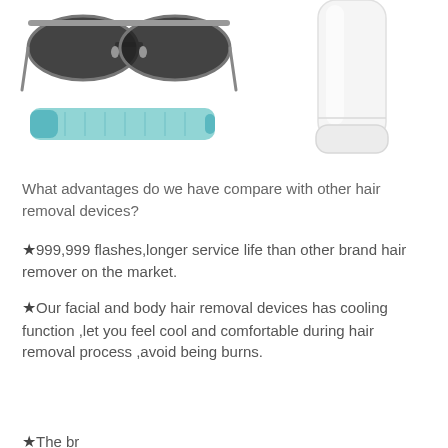[Figure (photo): Product photos: aviator sunglasses and a teal/blue sunglass arm on the left; a white cylindrical hair removal device on the right]
What advantages do we have compare with other hair removal devices?
★999,999 flashes,longer service life than other brand hair remover on the market.
★Our facial and body hair removal devices has cooling function ,let you feel cool and comfortable during hair removal process ,avoid being burns.
★The br...